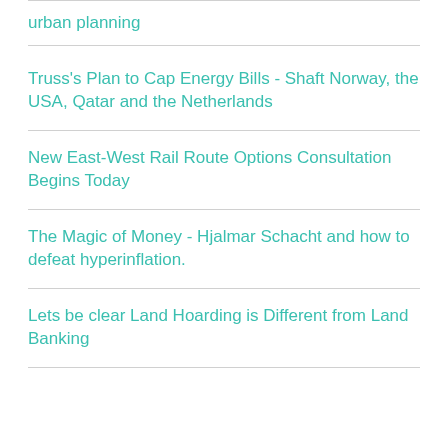urban planning
Truss's Plan to Cap Energy Bills - Shaft Norway, the USA, Qatar and the Netherlands
New East-West Rail Route Options Consultation Begins Today
The Magic of Money - Hjalmar Schacht and how to defeat hyperinflation.
Lets be clear Land Hoarding is Different from Land Banking